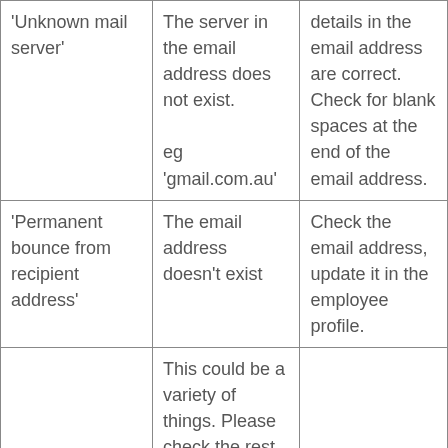| 'Unknown mail server' | The server in the email address does not exist.

eg 'gmail.com.au' | details in the email address are correct. Check for blank spaces at the end of the email address. |
| 'Permanent bounce from recipient address' | The email address doesn't exist | Check the email address, update it in the employee profile. |
|  | This could be a variety of things. Please check the rest of the message in the 'Reason' column for more details. Some things |  |